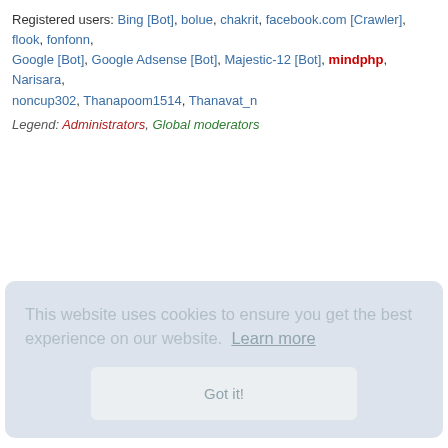Registered users: Bing [Bot], bolue, chakrit, facebook.com [Crawler], flook, fonfonn, Google [Bot], Google Adsense [Bot], Majestic-12 [Bot], mindphp, Narisara, noncup302, Thanapoom1514, Thanavat_n
Legend: Administrators, Global moderators
This website uses cookies to ensure you get the best experience on our website. Learn more
Got it!